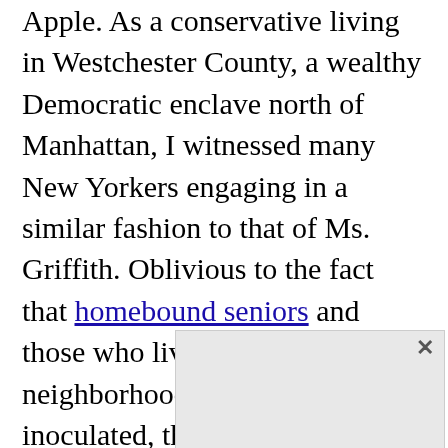Apple.  As a conservative living in Westchester County, a wealthy Democratic enclave north of Manhattan, I witnessed many New Yorkers engaging in a similar fashion to that of Ms. Griffith.  Oblivious to the fact that homebound seniors and those who live in minority neighborhoods were yet inoculated, these anxious suburbanites who once spent months fetishizing over New York Governor Andrew Cuomo's daily briefings and stringent lockdown measures were now obsessively trying to promote their eligibility for the vaccine.  As a result of their rush to vaccinate, many coastal elites are contributing to the racial inequities they purport to be against.

In an effort to prioritize their arm for inoculation, some falsely exaggerated plans to “volunteer” their way to an appointment while others hired outside professionals to assist the[...]. Unlike m[...] continue to work re[...] slots, residents[...] ely on public tr[...]